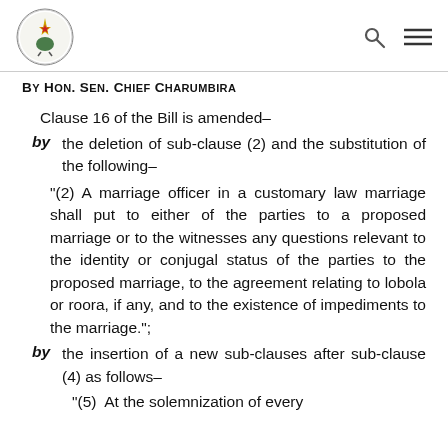Parliament of Zimbabwe — navigation header with logo, search and menu icons
By Hon. Sen. Chief Charumbira
Clause 16 of the Bill is amended–
by  the deletion of sub-clause (2) and the substitution of the following–
"(2) A marriage officer in a customary law marriage shall put to either of the parties to a proposed marriage or to the witnesses any questions relevant to the identity or conjugal status of the parties to the proposed marriage, to the agreement relating to lobola or roora, if any, and to the existence of impediments to the marriage.";
by  the insertion of a new sub-clauses after sub-clause (4) as follows–
"(5)  At the solemnization of every